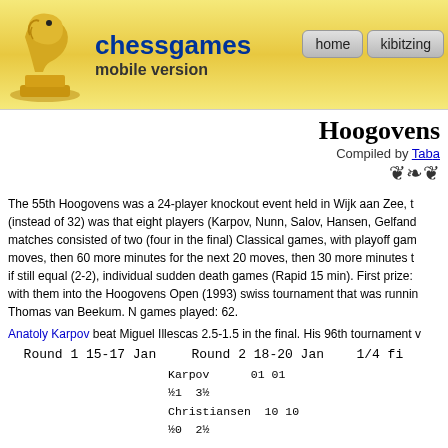chessgames mobile version | home | kibitzing
Hoogovens
Compiled by Tab...
The 55th Hoogovens was a 24-player knockout event held in Wijk aan Zee, th... (instead of 32) was that eight players (Karpov, Nunn, Salov, Hansen, Gelfand... matches consisted of two (four in the final) Classical games, with playoff gam... moves, then 60 more minutes for the next 20 moves, then 30 more minutes t... if still equal (2-2), individual sudden death games (Rapid 15 min). First prize:... with them into the Hoogovens Open (1993) swiss tournament that was runnin... Thomas van Beekum. N games played: 62.
Anatoly Karpov beat Miguel Illescas 2.5-1.5 in the final. His 96th tournament v...
| Round 1 15-17 Jan | Round 2 18-20 Jan | 1/4 fi... |
| --- | --- | --- |
|  | Karpov   01 01 ½1  3½ |  |
|  | Christiansen  10 10 ½0  2½ |  |
| Christiansen  ½1 -- -  1½ |  |  |
| Korchnoi   ½0 -- -   ½ |  |  |
|  |  | Karpov  1½ |
|  |  | Nunn   0½ |
|  | Nunn   1½ -- --  1½ |  |
|  | Azmaiparashvili  0½ -- --   ½ |  |